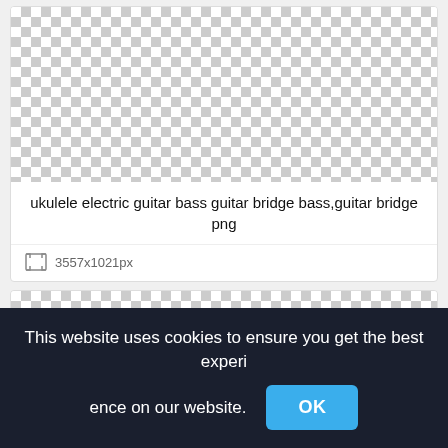[Figure (photo): Transparent checkered background pattern (placeholder image area) for first card]
ukulele electric guitar bass guitar bridge bass,guitar bridge png
3557x1021px
[Figure (photo): Transparent checkered background pattern (placeholder image area) for second card]
This website uses cookies to ensure you get the best experience on our website.